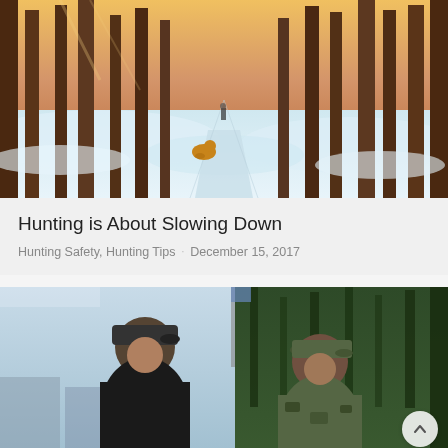[Figure (photo): Winter snow forest scene with tall pine trees, a person walking in the distance on a snowy path, and a dog running in the foreground. Warm golden light filters through the trees.]
Hunting is About Slowing Down
Hunting Safety, Hunting Tips · December 15, 2017
[Figure (photo): Two men posing for a photo outdoors, both wearing baseball caps. Left man in dark clothing, right man in camouflage. Trees and outdoor scenery in background.]